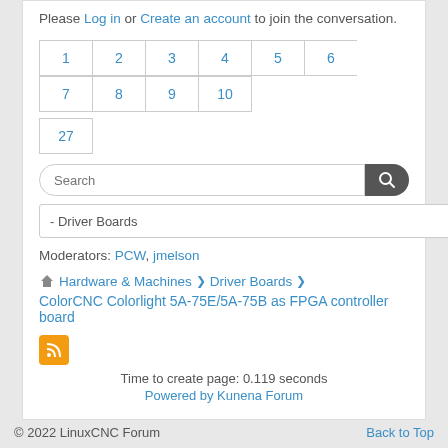Please Log in or Create an account to join the conversation.
1 2 3 4 5 6 7 8 9 10 27
Search
- Driver Boards
Moderators: PCW, jmelson
Hardware & Machines > Driver Boards > ColorCNC Colorlight 5A-75E/5A-75B as FPGA controller board
Time to create page: 0.119 seconds
Powered by Kunena Forum
© 2022 LinuxCNC Forum   Back to Top